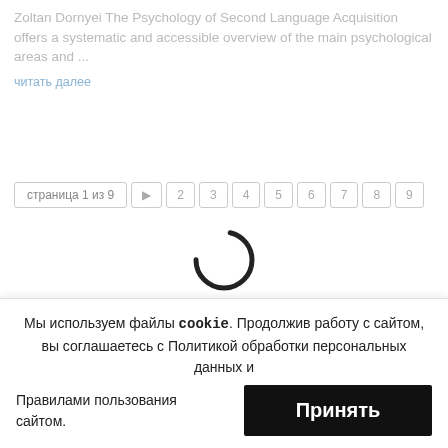Zoltan Dornyei The Psychology of Second Language Acquisition offers a systematic and accessible overview of the main psychological areas and ...
читать далее
страница 1 из 9  2  3  4  5  6  7  8  9
[Figure (other): Loading spinner animation (circular arc)]
Мы используем файлы cookie. Продолжив работу с сайтом, вы соглашаетесь с Политикой обработки персональных данных и
Правилами пользования сайтом.
Принять